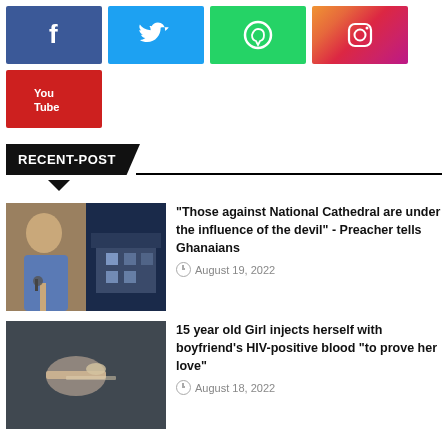[Figure (other): Social media buttons row: Facebook (blue), Twitter (light blue), WhatsApp (green), Instagram (gradient orange-pink)]
[Figure (other): YouTube social media button (red)]
RECENT-POST
[Figure (photo): Two thumbnail images: a man speaking at microphone and a building at night]
“Those against National Cathedral are under the influence of the devil” - Preacher tells Ghanaians
August 19, 2022
[Figure (photo): Thumbnail of a hand with a leaf/paper]
15 year old Girl injects herself with boyfriend’s HIV-positive blood “to prove her love”
August 18, 2022